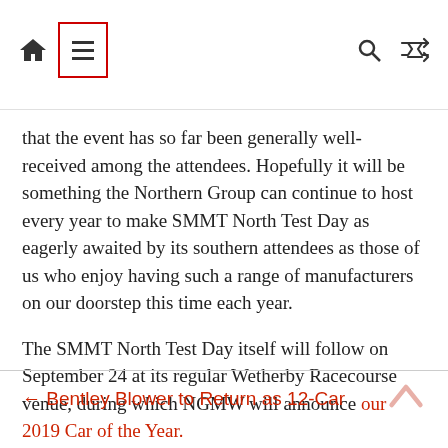Navigation bar with home icon, menu icon (highlighted with red border), search icon, shuffle icon
that the event has so far been generally well-received among the attendees. Hopefully it will be something the Northern Group can continue to host every year to make SMMT North Test Day as eagerly awaited by its southern attendees as those of us who enjoy having such a range of manufacturers on our doorstep this time each year.
The SMMT North Test Day itself will follow on September 24 at its regular Wetherby Racecourse venue, during which NGMW will announce our 2019 Car of the Year.
← Bentley Blower to Return as 12-Car